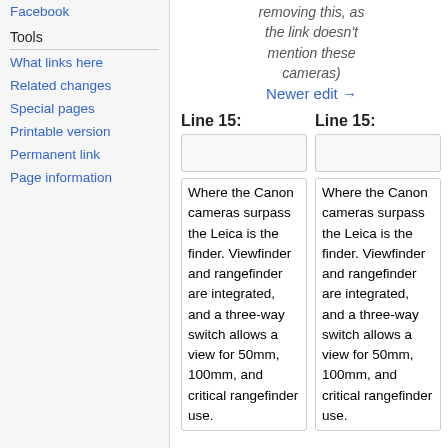Facebook
Tools
What links here
Related changes
Special pages
Printable version
Permanent link
Page information
removing this, as the link doesn't mention these cameras)
Newer edit →
Line 15:
Line 15:
Where the Canon cameras surpass the Leica is the finder. Viewfinder and rangefinder are integrated, and a three-way switch allows a view for 50mm, 100mm, and critical rangefinder use.
Where the Canon cameras surpass the Leica is the finder. Viewfinder and rangefinder are integrated, and a three-way switch allows a view for 50mm, 100mm, and critical rangefinder use.